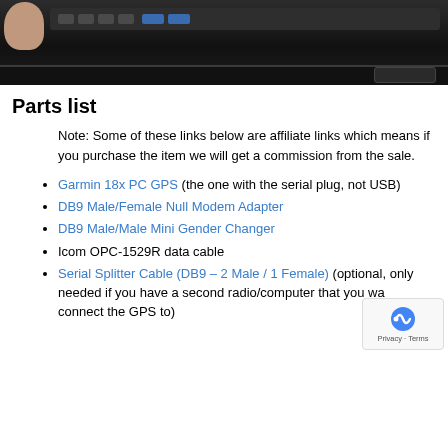[Figure (photo): A dark electronic device (appears to be a radio or GPS receiver) photographed from above with a finger visible at top-left.]
Parts list
Note: Some of these links below are affiliate links which means if you purchase the item we will get a commission from the sale.
Garmin 18x PC GPS (the one with the serial plug, not USB)
DB9 Male/Female Null Modem Adapter
DB9 Male/Male Mini Gender Changer
Icom OPC-1529R data cable
Serial Splitter Cable (DB9 – 2 Male / 1 Female) (optional, only needed if you have a second radio/computer that you want to connect the GPS to)